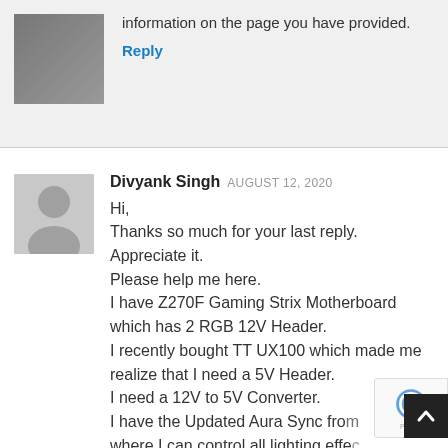information on the page you have provided.
Reply
Divyank Singh AUGUST 12, 2020
Hi,
Thanks so much for your last reply. Appreciate it.
Please help me here.
I have Z270F Gaming Strix Motherboard which has 2 RGB 12V Header.
I recently bought TT UX100 which made me realize that I need a 5V Header.
I need a 12V to 5V Converter.
I have the Updated Aura Sync from where I can control all lighting effec...